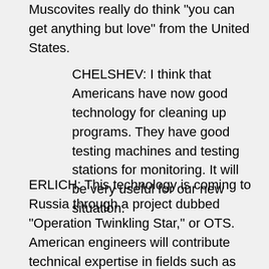Muscovites really do think "you can get anything but love" from the United States.
CHELSHEV: I think that Americans have now good technology for cleaning up programs. They have good testing machines and testing stations for monitoring. It will be very useful for our new situation.
ERLICH: This technology is coming to Russia through a project dubbed "Operation Twinkling Star," or OTS. American engineers will contribute technical expertise in fields such as monitoring river pollution and will later send technology to reduce effluent from factories along the rivers. For their part, the Russians will contribute sophisticated military technology for aerial mapping,